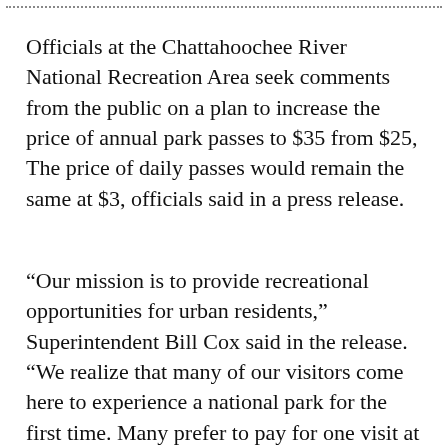Officials at the Chattahoochee River National Recreation Area seek comments from the public on a plan to increase the price of annual park passes to $35 from $25, The price of daily passes would remain the same at $3, officials said in a press release.
“Our mission is to provide recreational opportunities for urban residents,” Superintendent Bill Cox said in the release. “We realize that many of our visitors come here to experience a national park for the first time. Many prefer to pay for one visit at a time. For the visitors, the annual pass still remains in t…